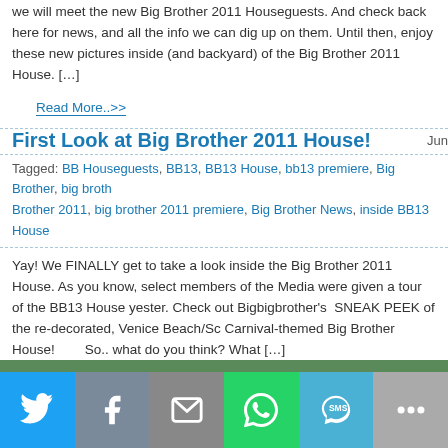we will meet the new Big Brother 2011 Houseguests.  And check back here  for news, and all the info we can dig up on them. Until then, enjoy these new pictures inside (and backyard) of the Big Brother 2011 House. [...]
Read More..>>
First Look at Big Brother 2011 House!
Tagged: BB Houseguests, BB13, BB13 House, bb13 premiere, Big Brother, big brother, Brother 2011, big brother 2011 premiere, Big Brother News, inside BB13 House
Yay! We FINALLY get to take a look inside the Big Brother 2011 House. As you know, select members of the Media were given a tour of the BB13 House yesterday. Check out Bigbigbrother's  SNEAK PEEK of the re-decorated, Venice Beach/Sc Carnival-themed Big Brother House!       So.. what do you think? What [...]
Read More..>>
Page 1 of 2  1  2  »